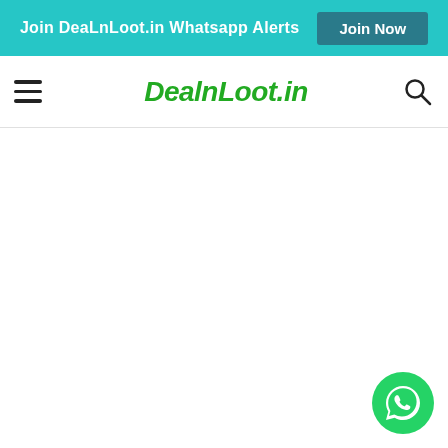Join DeaLnLoot.in Whatsapp Alerts  Join Now
[Figure (logo): DealnLoot.in website navigation bar with hamburger menu on the left, DealnLoot.in logo in green italic bold font in the center, and a search icon on the right]
[Figure (other): WhatsApp floating action button — circular green button with white WhatsApp phone/chat icon, positioned at bottom-right corner]